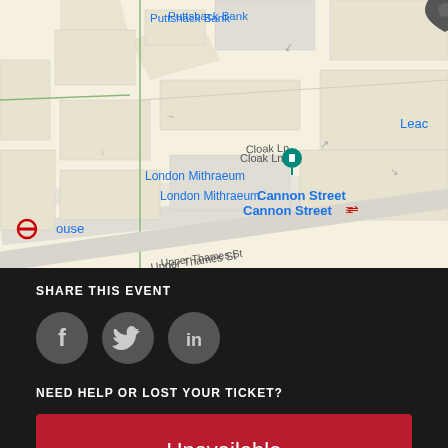[Figure (map): Google Maps screenshot showing area around Cannon Street, London, including Bank, Monument, London Mithraeum, Puttshack Bank, TK Maxx, The Folly, Upper Thames Street, Bush Ln, Cloak Ln labels and transit icons.]
SHARE THIS EVENT
[Figure (infographic): Three circular dark grey social media icon buttons: Facebook (f), Twitter (bird), LinkedIn (in)]
NEED HELP OR LOST YOUR TICKET?
Unavailable